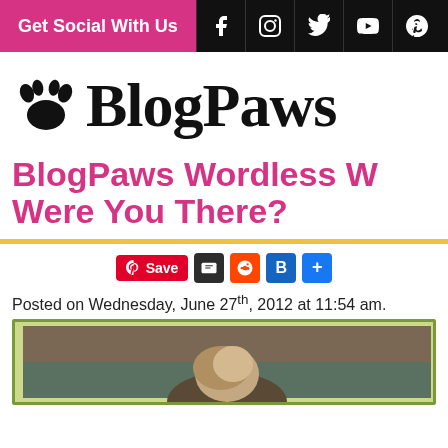Get Social With Us
BlogPaws
BlogPaws Wordless W… Were You There?
[Figure (screenshot): Social share buttons: Save (Pinterest), Digg, Reddit, Blogger, Share+]
Posted on Wednesday, June 27th, 2012 at 11:54 am.
[Figure (photo): Photo of a person with light brown hair from behind, inside what appears to be a venue or conference room]